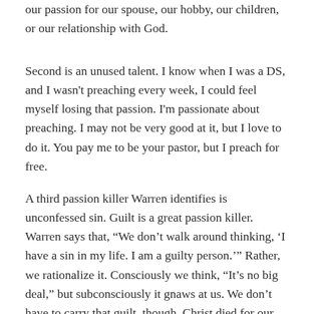our passion for our spouse, our hobby, our children, or our relationship with God.
Second is an unused talent. I know when I was a DS, and I wasn't preaching every week, I could feel myself losing that passion. I'm passionate about preaching. I may not be very good at it, but I love to do it. You pay me to be your pastor, but I preach for free.
A third passion killer Warren identifies is unconfessed sin. Guilt is a great passion killer. Warren says that, “We don’t walk around thinking, ‘I have a sin in my life. I am a guilty person.’” Rather, we rationalize it. Consciously we think, “It’s no big deal,” but subconsciously it gnaws at us. We don’t have to carry that guilt, though. Christ died for our sin. Confess it, and move on. Don’t let guilt kill your passion for God.